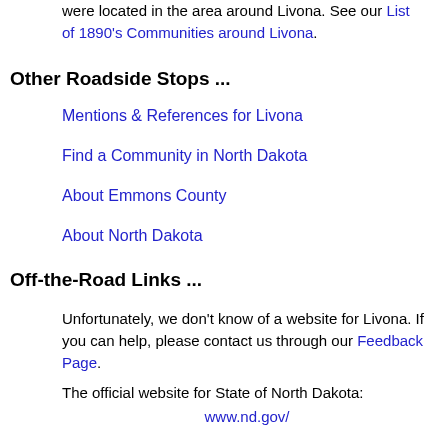were located in the area around Livona. See our List of 1890's Communities around Livona.
Other Roadside Stops ...
Mentions & References for Livona
Find a Community in North Dakota
About Emmons County
About North Dakota
Off-the-Road Links ...
Unfortunately, we don't know of a website for Livona. If you can help, please contact us through our Feedback Page.
The official website for State of North Dakota: www.nd.gov/